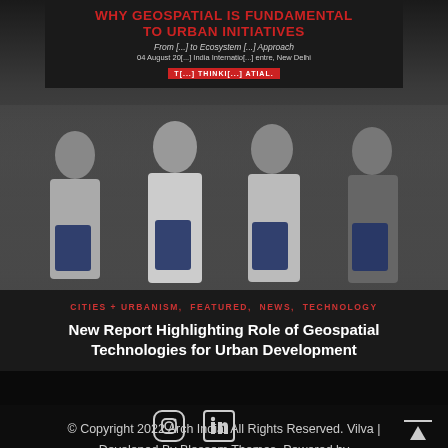[Figure (photo): Four men standing at a panel event holding booklets/reports. Banner behind them reads 'WHY GEOSPATIAL IS FUNDAMENTAL TO URBAN INITIATIVES – From [...] to Ecosystem [...] Approach, 04 August 20[...], India Internatio[...], New Delhi'. Think Spatial branding visible.]
CITIES + URBANISM, FEATURED, NEWS, TECHNOLOGY
New Report Highlighting Role of Geospatial Technologies for Urban Development
© Copyright 2022 Arch India. All Rights Reserved. Vilva | Developed By Blossom Themes. Powered by WordPress.Privacy Policy